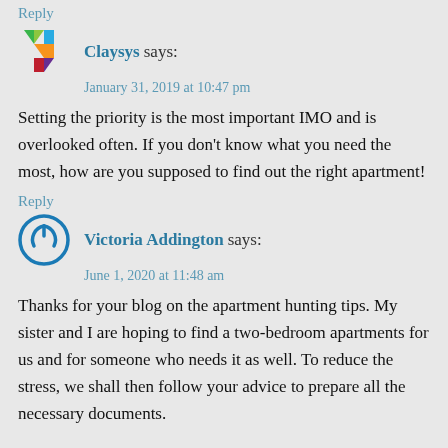Reply
Claysys says:
January 31, 2019 at 10:47 pm
Setting the priority is the most important IMO and is overlooked often. If you don't know what you need the most, how are you supposed to find out the right apartment!
Reply
Victoria Addington says:
June 1, 2020 at 11:48 am
Thanks for your blog on the apartment hunting tips. My sister and I are hoping to find a two-bedroom apartments for us and for someone who needs it as well. To reduce the stress, we shall then follow your advice to prepare all the necessary documents.